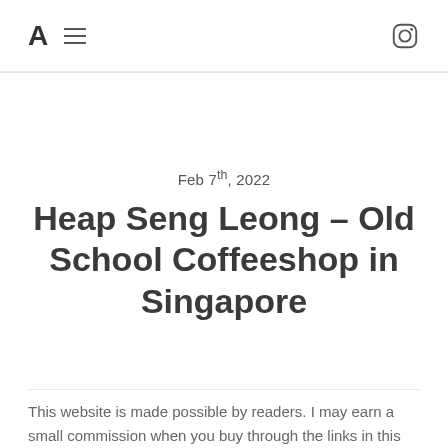A ≡ [Instagram icon]
Feb 7th, 2022
Heap Seng Leong – Old School Coffeeshop in Singapore
This website is made possible by readers. I may earn a small commission when you buy through the links in this